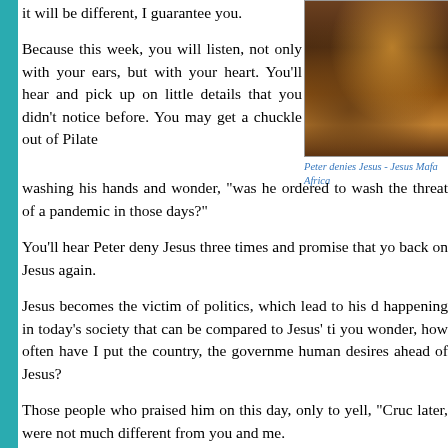it will be different, I guarantee you.
[Figure (photo): Painting depicting Peter denying Jesus - Jesus Mafa Africa, showing figures around a fire in dark tones]
Peter denies Jesus - Jesus Mafa Africa
Because this week, you will listen, not only with your ears, but with your heart. You'll hear and pick up on little details that you didn't notice before. You may get a chuckle out of Pilate washing his hands and wonder, "was he ordered to wash the threat of a pandemic in those days?"
You'll hear Peter deny Jesus three times and promise that you back on Jesus again.
Jesus becomes the victim of politics, which lead to his d happening in today's society that can be compared to Jesus' ti you wonder, how often have I put the country, the governme human desires ahead of Jesus?
Those people who praised him on this day, only to yell, "Cruc later, were not much different from you and me.
This isolation that we're experiencing is a good time to enga God's word to learn the story of Jesus, to hear the story more c